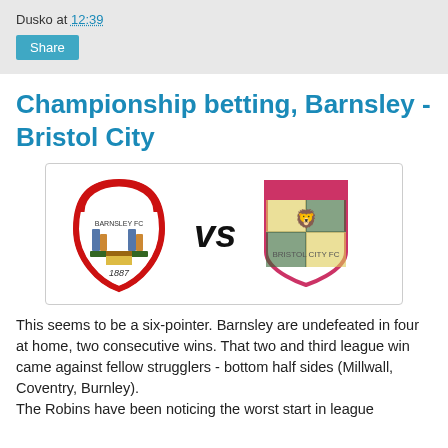Dusko at 12:39
Share
Championship betting, Barnsley - Bristol City
[Figure (illustration): Barnsley FC crest (red and white shield with 1887, two figures) versus Bristol City FC crest (pink shield with two golden lions), with VS text in between]
This seems to be a six-pointer. Barnsley are undefeated in four at home, two consecutive wins. That two and third league win came against fellow strugglers - bottom half sides (Millwall, Coventry, Burnley).
The Robins have been noticing the worst start in league